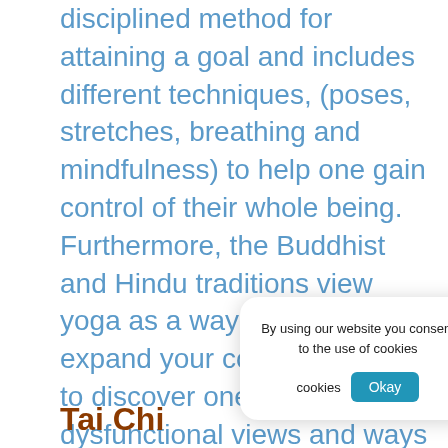disciplined method for attaining a goal and includes different techniques, (poses, stretches, breathing and mindfulness) to help one gain control of their whole being. Furthermore, the Buddhist and Hindu traditions view yoga as a way to raise and expand your consciousness, to discover ones dysfunctional views and ways of thinking and to overcome them. Yoga helps release these negative thoughts to heal suffering and gain inner peace which in turn can help r...
By using our website you consent to the use of cookies
Tai Chi